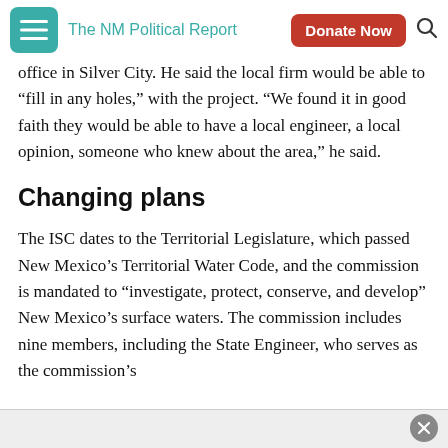The NM Political Report
office in Silver City. He said the local firm would be able to “fill in any holes,” with the project. “We found it in good faith they would be able to have a local engineer, a local opinion, someone who knew about the area,” he said.
Changing plans
The ISC dates to the Territorial Legislature, which passed New Mexico’s Territorial Water Code, and the commission is mandated to “investigate, protect, conserve, and develop” New Mexico’s surface waters. The commission includes nine members, including the State Engineer, who serves as the commission’s